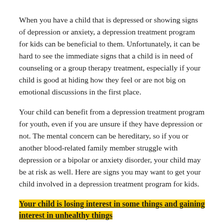When you have a child that is depressed or showing signs of depression or anxiety, a depression treatment program for kids can be beneficial to them. Unfortunately, it can be hard to see the immediate signs that a child is in need of counseling or a group therapy treatment, especially if your child is good at hiding how they feel or are not big on emotional discussions in the first place.
Your child can benefit from a depression treatment program for youth, even if you are unsure if they have depression or not. The mental concern can be hereditary, so if you or another blood-related family member struggle with depression or a bipolar or anxiety disorder, your child may be at risk as well. Here are signs you may want to get your child involved in a depression treatment program for kids.
Your child is losing interest in some things and gaining interest in unhealthy things
A child losing interest and having interest in certain things at a young age...